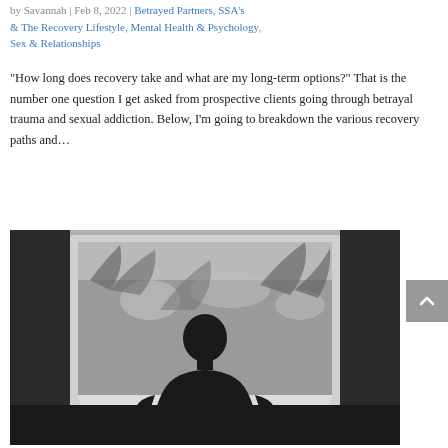by Savannah | Feb 8, 2022 | Betrayed Partners, SSA's & The Recovery Lifestyle, Mental Health & Psychology, Sex & Relationships
“How long does recovery take and what are my long-term options?” That is the number one question I get asked from prospective clients going through betrayal trauma and sexual addiction. Below, I’m going to breakdown the various recovery paths and…
[Figure (photo): Black and white photo of a person silhouetted against a large window, looking outside at bare winter trees]